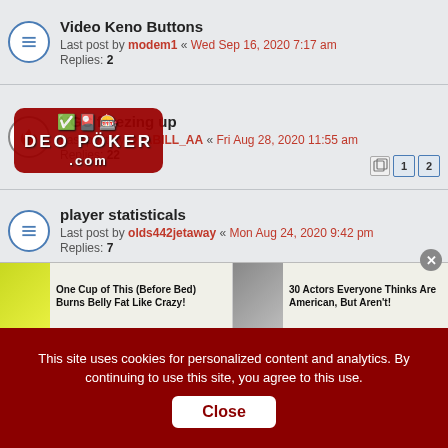Video Keno Buttons
Last post by modem1 « Wed Sep 16, 2020 7:17 am
Replies: 2
VGC freezing up
Last post by OTABILL_AA « Fri Aug 28, 2020 11:55 am
Replies: 22
player statisticals
Last post by olds442jetaway « Mon Aug 24, 2020 9:42 pm
Replies: 7
Challenge - Ran out of Credits.
Last post by OTABILL « Sat Aug 08, 2020 1:15 pm
Full Screen Game Board
Last post by blind luck « Thu Jul 23, 2020 7:25 pm
Monthly game stats window
Last post by Webman « Sun Jul 19, 2020 6:16 am
Replies: 1
[Figure (screenshot): Video poker forum watermark/logo overlay with red background showing VGC and DEO POKER .com text]
[Figure (screenshot): Ad banner with two advertisements - one for belly fat supplement, one for 30 Actors article]
This site uses cookies for personalized content and analytics. By continuing to use this site, you agree to this use. Close